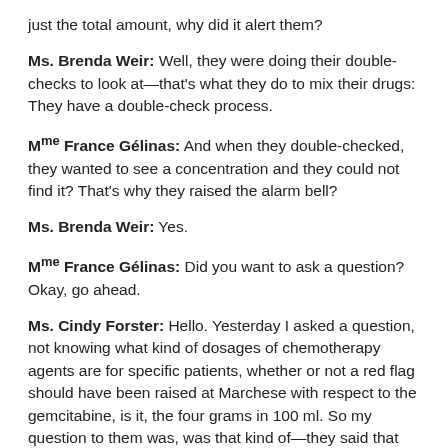just the total amount, why did it alert them?
Ms. Brenda Weir: Well, they were doing their double-checks to look at—that's what they do to mix their drugs: They have a double-check process.
Mme France Gélinas: And when they double-checked, they wanted to see a concentration and they could not find it? That's why they raised the alarm bell?
Ms. Brenda Weir: Yes.
Mme France Gélinas: Did you want to ask a question? Okay, go ahead.
Ms. Cindy Forster: Hello. Yesterday I asked a question, not knowing what kind of dosages of chemotherapy agents are for specific patients, whether or not a red flag should have been raised at Marchese with respect to the gemcitabine, is it, the four grams in 100 ml. So my question to them was, was that kind of—they said that they were not requested